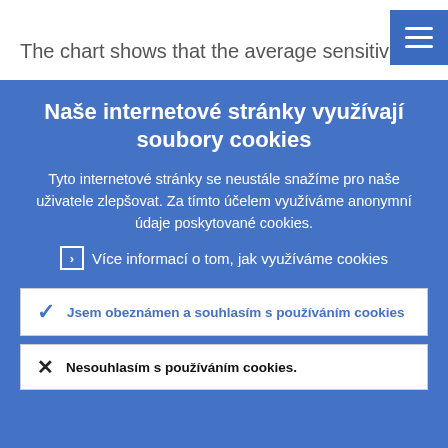The chart shows that the average sensitiv...
Naše internetové stránky využívají soubory cookies
Tyto internetové stránky se neustále snažíme pro naše uživatele zlepšovat. Za tímto účelem využíváme anonymní údaje poskytované cookies.
› Více informací o tom, jak využíváme cookies
✓ Jsem obeznámen a souhlasím s používáním cookies
✗ Nesouhlasím s používáním cookies.